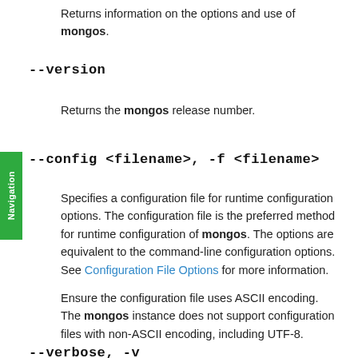Returns information on the options and use of mongos.
--version
Returns the mongos release number.
--config <filename>, -f <filename>
Specifies a configuration file for runtime configuration options. The configuration file is the preferred method for runtime configuration of mongos. The options are equivalent to the command-line configuration options. See Configuration File Options for more information.
Ensure the configuration file uses ASCII encoding. The mongos instance does not support configuration files with non-ASCII encoding, including UTF-8.
--verbose, -v